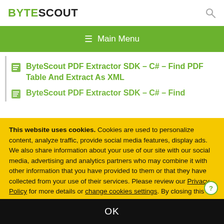BYTESCOUT
ByteScout PDF Extractor SDK – C# – Find PDF Table And Extract As XML
ByteScout PDF Extractor SDK – C# – Find
This website uses cookies. Cookies are used to personalize content, analyze traffic, provide social media features, display ads. We also share information about your use of our site with our social media, advertising and analytics partners who may combine it with other information that you have provided to them or that they have collected from your use of their services. Please review our Privacy Policy for more details or change cookies settings. By closing this banner or by clicking a link or continuing to browse otherwise, you consent to our cookies.
OK